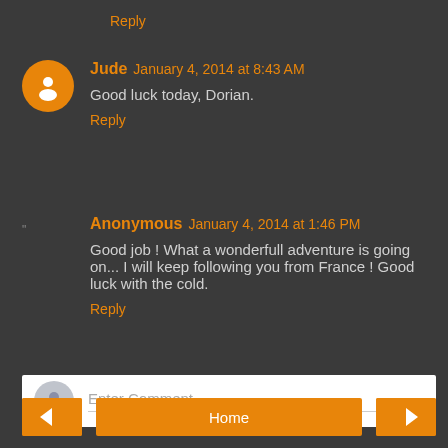Reply
Jude  January 4, 2014 at 8:43 AM
Good luck today, Dorian.
Reply
Anonymous  January 4, 2014 at 1:46 PM
Good job ! What a wonderfull adventure is going on... I will keep following you from France ! Good luck with the cold.
Reply
Enter Comment
Home